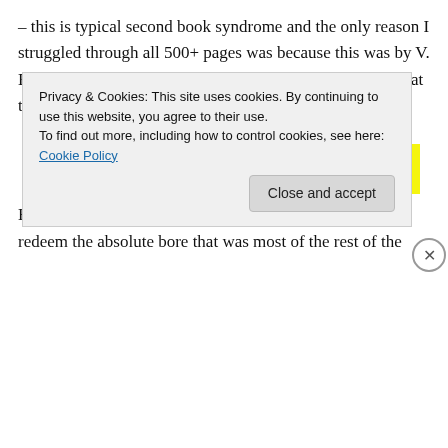– this is typical second book syndrome and the only reason I struggled through all 500+ pages was because this was by V. E. Schwab and I've read enough of her writing to know that the plot had to take a turn at some point.
[Figure (other): Advertisement banner with yellow background showing 'Share, Discuss, Collaborate...' text with WordPress logo and 'Powered by' label]
However, the ending was really good – good enough to redeem the absolute bore that was most of the rest of the
Privacy & Cookies: This site uses cookies. By continuing to use this website, you agree to their use.
To find out more, including how to control cookies, see here: Cookie Policy